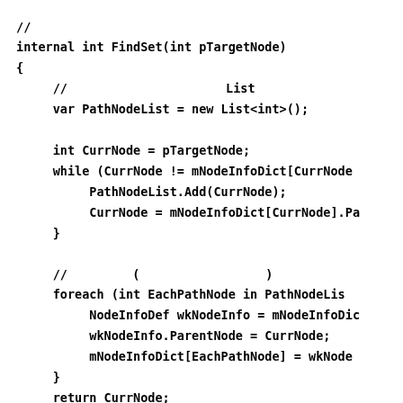// [Japanese comment]
internal int FindSet(int pTargetNode)
{
    // [Japanese comment] List
    var PathNodeList = new List<int>();

    int CurrNode = pTargetNode;
    while (CurrNode != mNodeInfoDict[CurrNode
        PathNodeList.Add(CurrNode);
        CurrNode = mNodeInfoDict[CurrNode].Pa
    }

    // [Japanese] ([Japanese])
    foreach (int EachPathNode in PathNodeLis
        NodeInfoDef wkNodeInfo = mNodeInfoDic
        wkNodeInfo.ParentNode = CurrNode;
        mNodeInfoDict[EachPathNode] = wkNode
    }
    return CurrNode;
}

internal void DebugPrint()
{
    foreach (var EachPair in mNodeInfoDict.O
        Console.WriteLine("mNodeInfoDict[{0}
        EachPair.Key, EachPair.Value.P